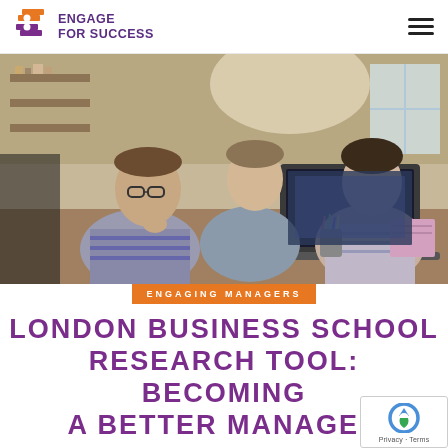ENGAGE FOR SUCCESS
[Figure (photo): Three young professionals (two men and a woman) gathered around a laptop in an office/study environment, collaborating.]
ENGAGING MANAGERS
LONDON BUSINESS SCHOOL RESEARCH TOOL: BECOMING A BETTER MANAGER